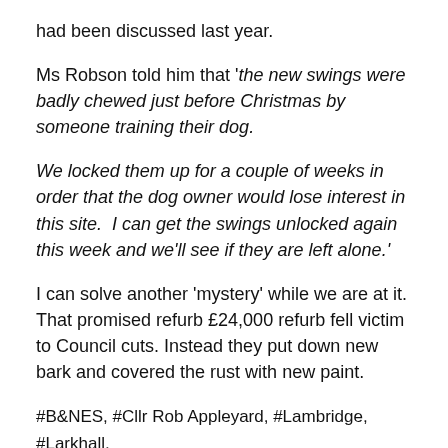had been discussed last year.
Ms Robson told him that 'the new swings were badly chewed just before Christmas by someone training their dog.
We locked them up for a couple of weeks in order that the dog owner would lose interest in this site.  I can get the swings unlocked again this week and we'll see if they are left alone.'
I can solve another 'mystery' while we are at it. That promised refurb £24,000 refurb fell victim to Council cuts. Instead they put down new bark and covered the rust with new paint.
#B&NES, #Cllr Rob Appleyard, #Lambridge, #Larkhall, #playground